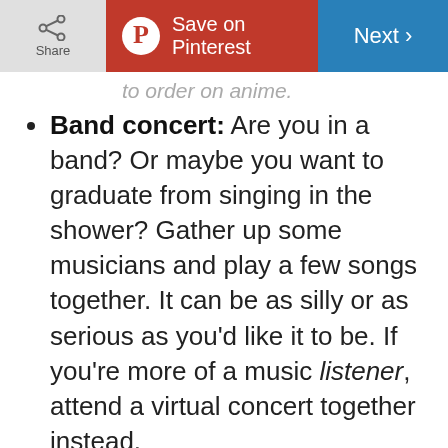Share | Save on Pinterest | Next
Band concert: Are you in a band? Or maybe you want to graduate from singing in the shower? Gather up some musicians and play a few songs together. It can be as silly or as serious as you'd like it to be. If you're more of a music listener, attend a virtual concert together instead.
Book club: Reading is the perfect quarantine activity. So what better way to do it than sharing your experience with friends? Choose a book for the month and assign chapters to read each week. Then meet on video chat to discuss your